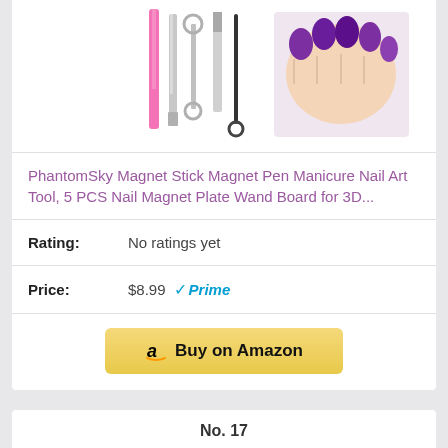[Figure (photo): Product image of nail art magnet stick tools and manicure pen set, with a photo of painted nails]
PhantomSky Magnet Stick Magnet Pen Manicure Nail Art Tool, 5 PCS Nail Magnet Plate Wand Board for 3D...
| Rating: | No ratings yet |
| Price: | $8.99  Prime |
[Figure (other): Buy on Amazon button with Amazon logo]
No. 17
[Figure (photo): Nail polish product image showing multiple gel nail colors including black, purple, pink, orange, red, green, teal, and blue, with packaging visible at bottom]